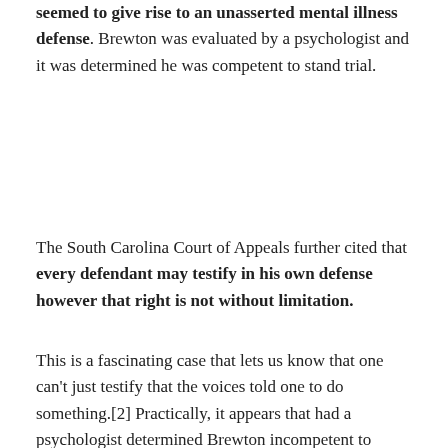seemed to give rise to an unasserted mental illness defense. Brewton was evaluated by a psychologist and it was determined he was competent to stand trial.
The South Carolina Court of Appeals further cited that every defendant may testify in his own defense however that right is not without limitation.
This is a fascinating case that lets us know that one can't just testify that the voices told one to do something.[2] Practically, it appears that had a psychologist determined Brewton incompetent to